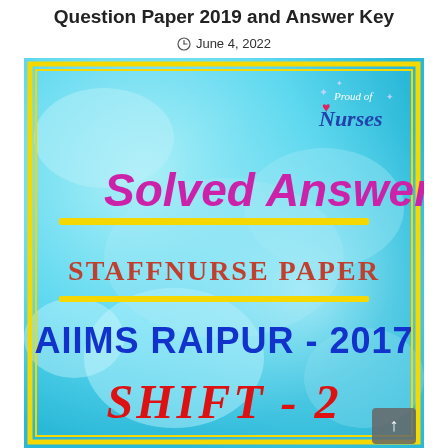Question Paper 2019 and Answer Key
June 4, 2022
[Figure (illustration): Cover image of a solved answers booklet for AIIMS Raipur 2017 Staff Nurse Paper Shift-2, with cyan/blue textured background, yellow border, and text: 'Solved Answers', 'STAFFNURSE PAPER', 'AIIMS RAIPUR - 2017', 'SHIFT - 2'. Top right corner shows 'Proud of Nurses' branding with a heart icon.]